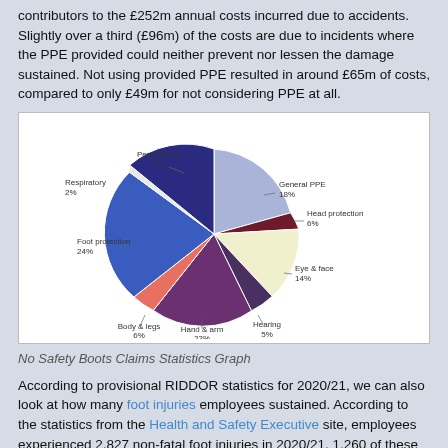contributors to the £252m annual costs incurred due to accidents. Slightly over a third (£96m) of the costs are due to incidents where the PPE provided could neither prevent nor lessen the damage sustained. Not using provided PPE resulted in around £65m of costs, compared to only £49m for not considering PPE at all.
[Figure (pie-chart): No Safety Boots Claims Statistics Graph]
No Safety Boots Claims Statistics Graph
According to provisional RIDDOR statistics for 2020/21, we can also look at how many foot injuries employees sustained. According to the statistics from the Health and Safety Executive site, employees experienced 2,827 non-fatal foot injuries in 2020/21. 1,260 of these injuries resulted in more than 7 days of absence from work.